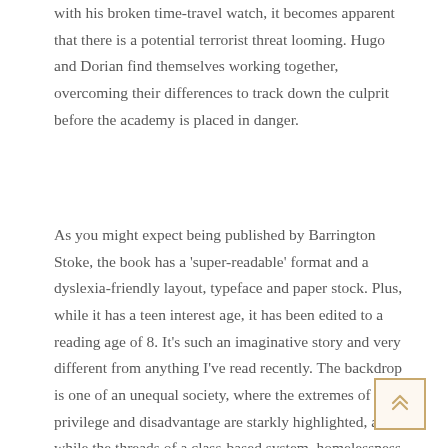with his broken time-travel watch, it becomes apparent that there is a potential terrorist threat looming. Hugo and Dorian find themselves working together, overcoming their differences to track down the culprit before the academy is placed in danger.
As you might expect being published by Barrington Stoke, the book has a 'super-readable' format and a dyslexia-friendly layout, typeface and paper stock. Plus, while it has a teen interest age, it has been edited to a reading age of 8. It's such an imaginative story and very different from anything I've read recently. The backdrop is one of an unequal society, where the extremes of privilege and disadvantage are starkly highlighted, and while the threads of a class-based system, homelessness and